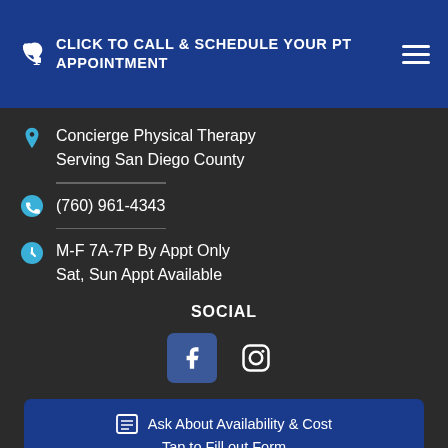CLICK TO CALL & SCHEDULE YOUR PT APPOINTMENT
Concierge Physical Therapy Serving San Diego County
(760) 961-4343
M-F 7A-7P By Appt Only Sat, Sun Appt Available
SOCIAL
[Figure (infographic): Facebook and Instagram social media icons]
Ask About Availability & Cost Tap to Fill out Form